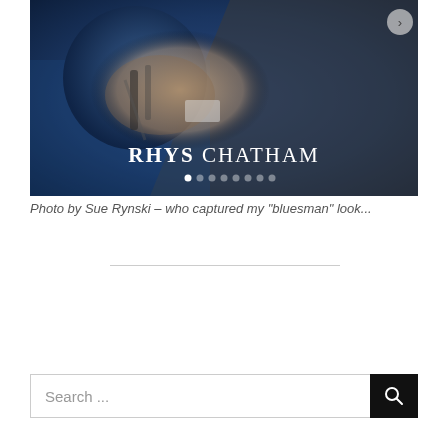[Figure (photo): Slideshow image showing a close-up of hands holding a musical instrument, with a circular dark blue element. Text overlay reads 'RHYS CHATHAM' in white serif font. Navigation arrow on top right. Row of dots indicating slideshow position at bottom.]
Photo by Sue Rynski – who captured my "bluesman" look...
Search ...